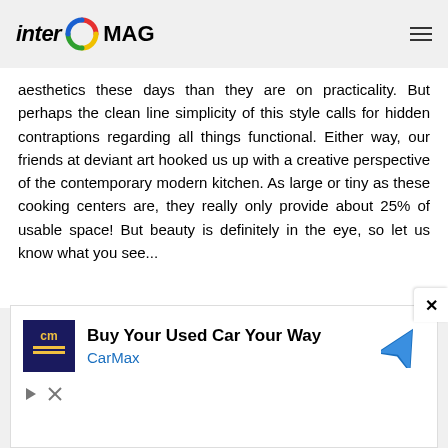inter MAG
aesthetics these days than they are on practicality. But perhaps the clean line simplicity of this style calls for hidden contraptions regarding all things functional. Either way, our friends at deviant art hooked us up with a creative perspective of the contemporary modern kitchen. As large or tiny as these cooking centers are, they really only provide about 25% of usable space! But beauty is definitely in the eye, so let us know what you see...
[Figure (other): CarMax advertisement: Buy Your Used Car Your Way with CarMax logo and navigation icon]